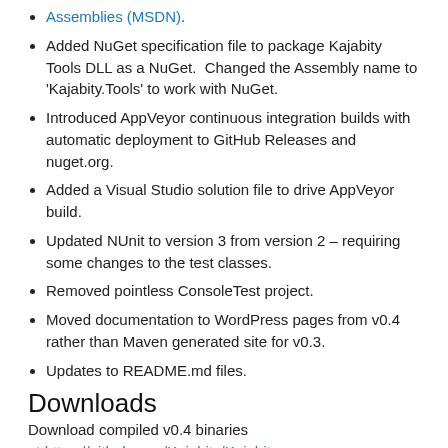Assemblies (MSDN).
Added NuGet specification file to package Kajabity Tools DLL as a NuGet.  Changed the Assembly name to 'Kajabity.Tools' to work with NuGet.
Introduced AppVeyor continuous integration builds with automatic deployment to GitHub Releases and nuget.org.
Added a Visual Studio solution file to drive AppVeyor build.
Updated NUnit to version 3 from version 2 – requiring some changes to the test classes.
Removed pointless ConsoleTest project.
Moved documentation to WordPress pages from v0.4 rather than Maven generated site for v0.3.
Updates to README.md files.
Downloads
Download compiled v0.4 binaries at https://github.com/Kajabity/Kajabity-